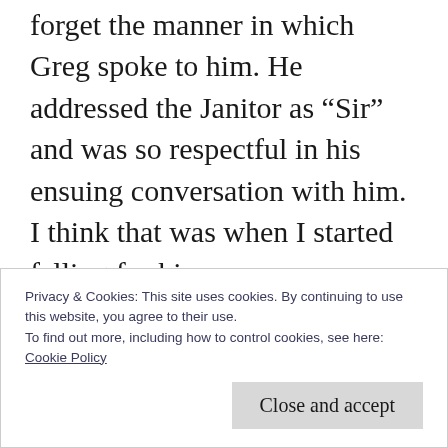forget the manner in which Greg spoke to him. He addressed the Janitor as “Sir” and was so respectful in his ensuing conversation with him. I think that was when I started falling for him.
I once went on a date with a guy who yelled at our waiter. The waiter had made an obvious mistake but being talked down to by my date was uncalled for. On the way home, we argued about the way in which he spoke
Privacy & Cookies: This site uses cookies. By continuing to use this website, you agree to their use.
To find out more, including how to control cookies, see here:
Cookie Policy
Close and accept
who you are.